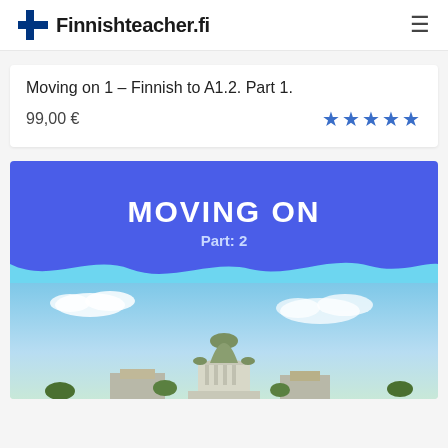Finnishteacher.fi
Moving on 1 – Finnish to A1.2. Part 1.
99,00 € ★★★★★
[Figure (illustration): Book cover image for 'Moving On Part 2' course, showing a blue banner with white bold text 'MOVING ON' and subtitle 'Part: 2', with a wavy transition to a photo of Helsinki cityscape featuring Helsinki Cathedral under blue sky with clouds]